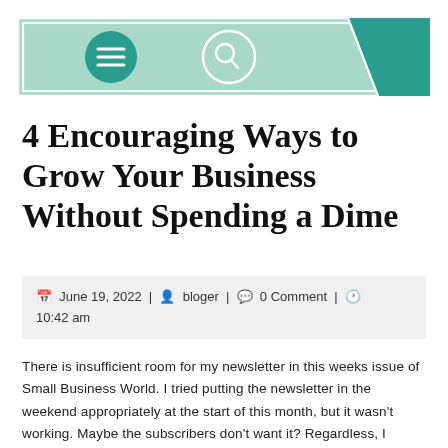[Figure (other): Website header navigation bar with teal/mint background, hamburger menu button (dark teal circle with three white lines), search button (white circle outline with magnifying glass icon), and a solid teal geometric corner shape on the right.]
4 Encouraging Ways to Grow Your Business Without Spending a Dime
June 19, 2022 | bloger | 0 Comment | 10:42 am
There is insufficient room for my newsletter in this weeks issue of Small Business World. I tried putting the newsletter in the weekend appropriately at the start of this month, but it wasn't working. Maybe the subscribers don't want it? Regardless, I wanted to put an article out that would encourage the growing